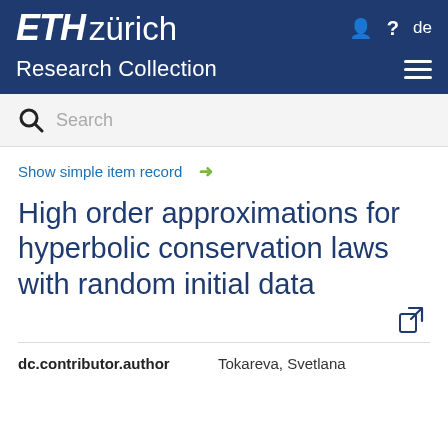ETH zürich Research Collection
Search
Show simple item record →
High order approximations for hyperbolic conservation laws with random initial data
| dc.contributor.author | Tokareva, Svetlana |
| --- | --- |